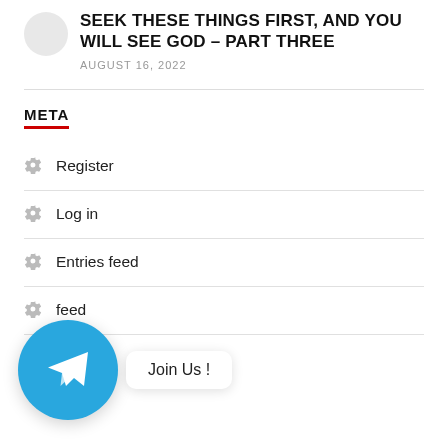SEEK THESE THINGS FIRST, AND YOU WILL SEE GOD – PART THREE
AUGUST 16, 2022
META
Register
Log in
Entries feed
feed
.org
[Figure (illustration): Telegram messenger icon (blue circle with white paper plane) with 'Join Us !' speech bubble tooltip overlay]